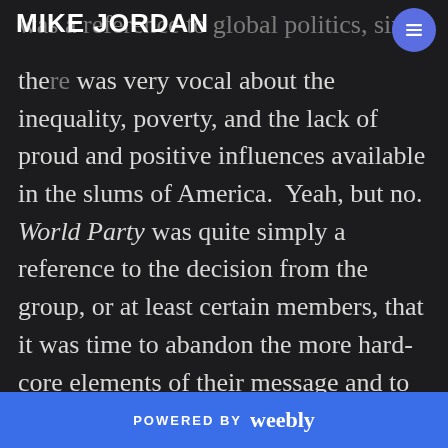MIKE JORDAN
was a reference to global politics, since the... was very vocal about the inequality, poverty, and the lack of proud and positive influences available in the slums of America.  Yeah, but no. World Party was quite simply a reference to the decision from the group, or at least certain members, that it was time to abandon the more hard-core elements of their message and to take a break for the sake of good times. You know, don't worry -- be happy. Ironically, no one was with their third album, and it marked the beginning of Soo...s distressed relationship with the
POWERED BY weebly